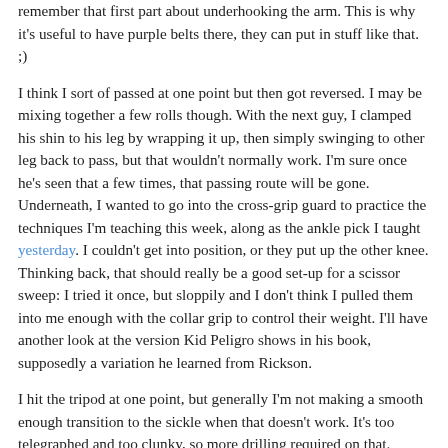remember that first part about underhooking the arm. This is why it's useful to have purple belts there, they can put in stuff like that. ;)
I think I sort of passed at one point but then got reversed. I may be mixing together a few rolls though. With the next guy, I clamped his shin to his leg by wrapping it up, then simply swinging to other leg back to pass, but that wouldn't normally work. I'm sure once he's seen that a few times, that passing route will be gone. Underneath, I wanted to go into the cross-grip guard to practice the techniques I'm teaching this week, along as the ankle pick I taught yesterday. I couldn't get into position, or they put up the other knee. Thinking back, that should really be a good set-up for a scissor sweep: I tried it once, but sloppily and I don't think I pulled them into me enough with the collar grip to control their weight. I'll have another look at the version Kid Peligro shows in his book, supposedly a variation he learned from Rickson.
I hit the tripod at one point, but generally I'm not making a smooth enough transition to the sickle when that doesn't work. It's too telegraphed and too clunky, so more drilling required on that. While generally this week I felt that I've...